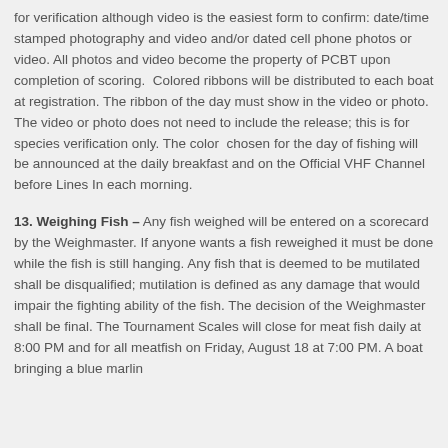for verification although video is the easiest form to confirm: date/time stamped photography and video and/or dated cell phone photos or video. All photos and video become the property of PCBT upon completion of scoring. Colored ribbons will be distributed to each boat at registration. The ribbon of the day must show in the video or photo. The video or photo does not need to include the release; this is for species verification only. The color chosen for the day of fishing will be announced at the daily breakfast and on the Official VHF Channel before Lines In each morning.
13. Weighing Fish – Any fish weighed will be entered on a scorecard by the Weighmaster. If anyone wants a fish reweighed it must be done while the fish is still hanging. Any fish that is deemed to be mutilated shall be disqualified; mutilation is defined as any damage that would impair the fighting ability of the fish. The decision of the Weighmaster shall be final. The Tournament Scales will close for meat fish daily at 8:00 PM and for all meatfish on Friday, August 18 at 7:00 PM. A boat bringing a blue marlin